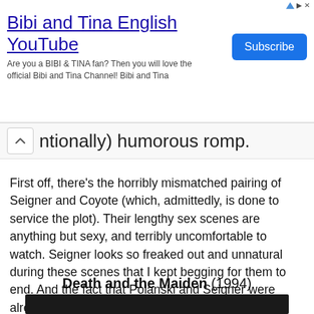[Figure (other): Advertisement banner for 'Bibi and Tina English YouTube' channel with Subscribe button]
ntionally) humorous romp.
First off, there's the horribly mismatched pairing of Seigner and Coyote (which, admittedly, is done to service the plot). Their lengthy sex scenes are anything but sexy, and terribly uncomfortable to watch. Seigner looks so freaked out and unnatural during these scenes that I kept begging for them to end. And the fact that Polanski and Seigner were already married when they made this film is just baffling to me. However, it must be said that once the sexuality calms down, Seigner adopts a sort of Lady Macbeth persona that I found utterly captivating. She singlehandedly saves the movie from being a complete disaster. C
Death and the Maiden (1994)
[Figure (photo): Dark cinematic still from the film Death and the Maiden (1994)]